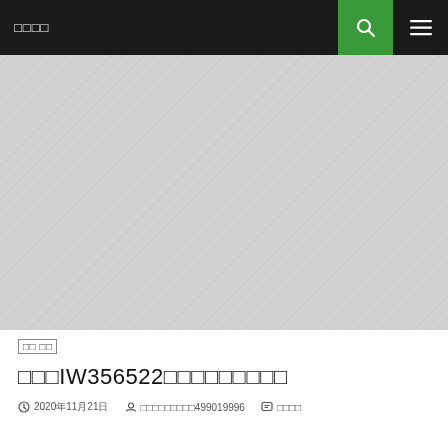□□□□
[Figure (photo): Hero image with diagonal stripe overlay pattern in gray, with a colored photo strip at top showing reddish-brown and golden tones]
□□ □□
□□□IW356522□□□□□□□□□
2020年11月21日  □□□□□□□□□499019996  □□□□